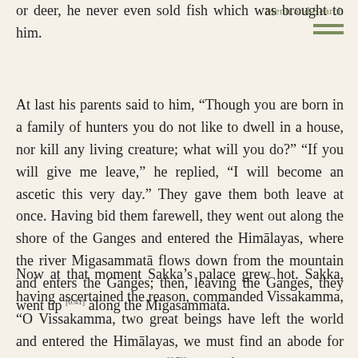Menu and Search
or deer, he never even sold fish which was brought to him.
At last his parents said to him, “Though you are born in a family of hunters you do not like to dwell in a house, nor kill any living creature; what will you do?” “If you will give me leave,” he replied, “I will become an ascetic this very day.” They gave them both leave at once. Having bid them farewell, they went out along the shore of the Ganges and entered the Himālayas, where the river Migasammatā flows down from the mountain and enters the Ganges; then, leaving the Ganges, they went up [6.41] along the Migasammatā.
Now at that moment Sakka’s palace grew hot. Sakka, having ascertained the reason, commanded Vissakamma, “O Vissakamma, two great beings have left the world and entered the Himālayas, we must find an abode for them – go and build them [6.73] a hut of